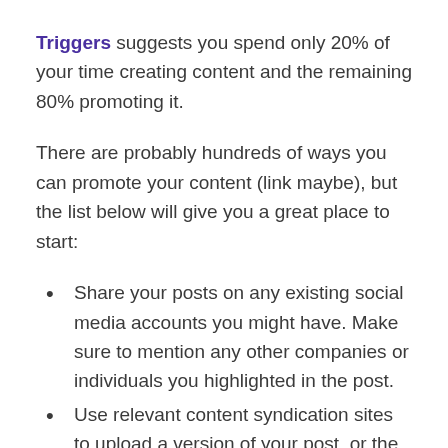Triggers suggests you spend only 20% of your time creating content and the remaining 80% promoting it.
There are probably hundreds of ways you can promote your content (link maybe), but the list below will give you a great place to start:
Share your posts on any existing social media accounts you might have. Make sure to mention any other companies or individuals you highlighted in the post.
Use relevant content syndication sites to upload a version of your post, or the post in its